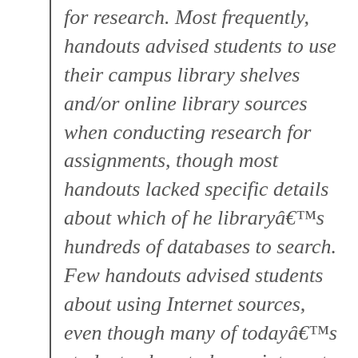for research. Most frequently, handouts advised students to use their campus library shelves and/or online library sources when conducting research for assignments, though most handouts lacked specific details about which of he libraryâ€™s hundreds of databases to search. Few handouts advised students about using Internet sources, even though many of todayâ€™s students almost always integrate the Web into their research activities. Very few handouts recommended consulting a librarian about research assignments. Details about evaluating information, plagiarism, and instructor availability appeared in only a